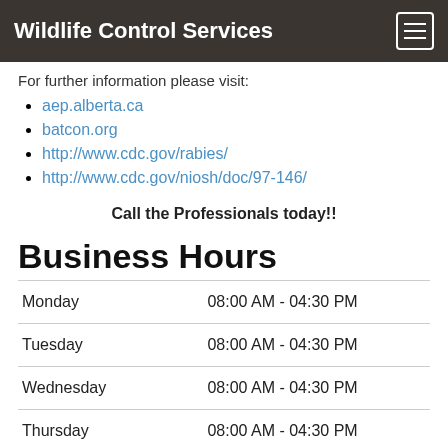Wildlife Control Services
For further information please visit:
aep.alberta.ca
batcon.org
http://www.cdc.gov/rabies/
http://www.cdc.gov/niosh/doc/97-146/
Call the Professionals today!!
Business Hours
| Day | Hours |
| --- | --- |
| Monday | 08:00 AM - 04:30 PM |
| Tuesday | 08:00 AM - 04:30 PM |
| Wednesday | 08:00 AM - 04:30 PM |
| Thursday | 08:00 AM - 04:30 PM |